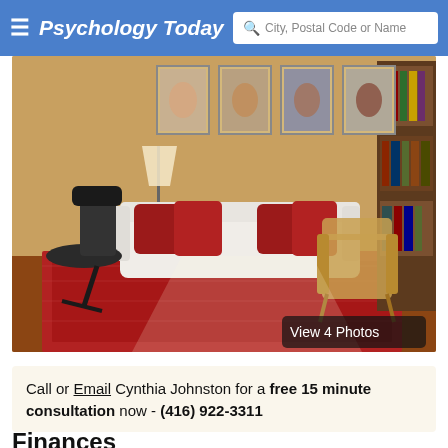Psychology Today — City, Postal Code or Name
[Figure (photo): Interior of a therapist's office showing a white sofa with red pillows, a wicker chair, a red patterned rug, framed portraits on the wall, a lamp, a bookshelf, and a desk chair. Overlay button reads 'View 4 Photos'.]
Call or Email Cynthia Johnston for a free 15 minute consultation now - (416) 922-3311
Finances